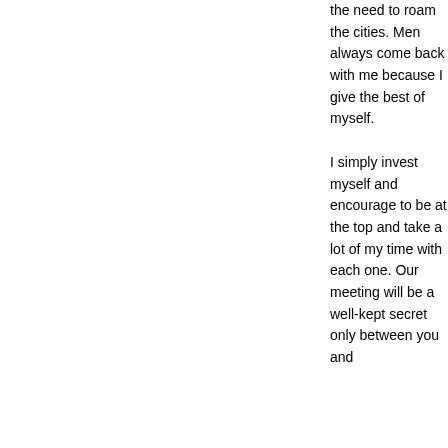the need to roam the cities. Men always come back with me because I give the best of myself.

I simply invest myself and encourage to be at the top and take a lot of my time with each one. Our meeting will be a well-kept secret only between you and